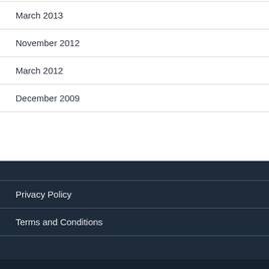March 2013
November 2012
March 2012
December 2009
Privacy Policy
Terms and Conditions